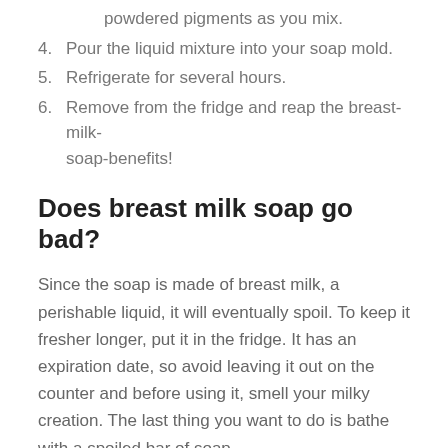powdered pigments as you mix.
4. Pour the liquid mixture into your soap mold.
5. Refrigerate for several hours.
6. Remove from the fridge and reap the breast-milk-soap-benefits!
Does breast milk soap go bad?
Since the soap is made of breast milk, a perishable liquid, it will eventually spoil. To keep it fresher longer, put it in the fridge. It has an expiration date, so avoid leaving it out on the counter and before using it, smell your milky creation. The last thing you want to do is bathe with a spoiled bar of soap.
What can you not put in soap?